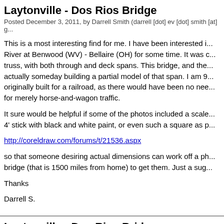Laytonville - Dos Rios Bridge
Posted December 3, 2011, by Darrell Smith (darrell [dot] ev [dot] smith [at] g...
This is a most interesting find for me. I have been interested i... River at Benwood (WV) - Bellaire (OH) for some time. It was c... truss, with both through and deck spans. This bridge, and the... actually someday building a partial model of that span. I am 9... originally built for a railroad, as there would have been no nee... for merely horse-and-wagon traffic.
It sure would be helpful if some of the photos included a scale... 4' stick with black and white paint, or even such a square as p...
http://coreldraw.com/forums/t/21536.aspx
so that someone desiring actual dimensions can work off a ph... bridge (that is 1500 miles from home) to get them. Just a sug...
Thanks
Darrell S.
Laytonville - Dos Rios Bridge
Posted May 10, 2010, by Craig Philpott (cphilpott [at] puc [dot] edu)